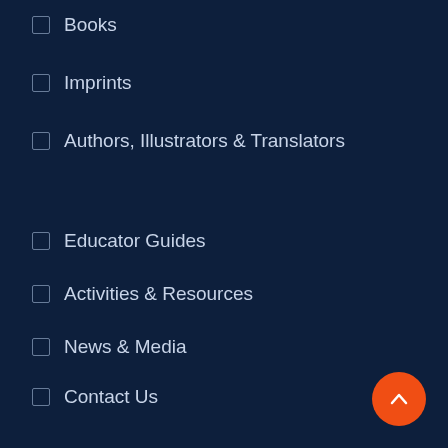Books
Imprints
Authors, Illustrators & Translators
Educator Guides
Activities & Resources
News & Media
Contact Us
Terms of Use
Privacy Policy